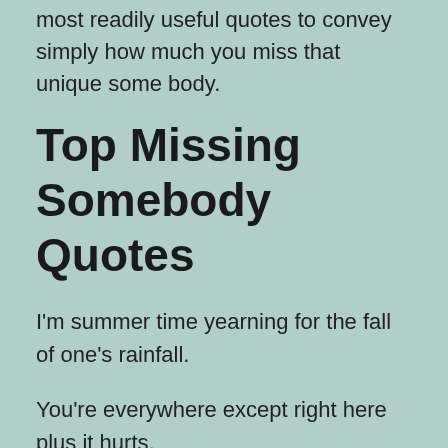most readily useful quotes to convey simply how much you miss that unique some body.
Top Missing Somebody Quotes
I'm summer time yearning for the fall of one's rainfall.
You're everywhere except right here plus it hurts.
The truth is which you brought this call at me personally. Just exactly How could i'd like it